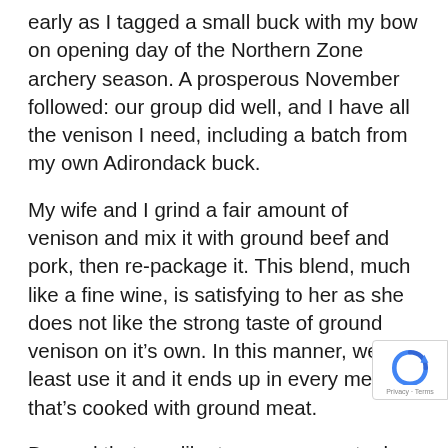early as I tagged a small buck with my bow on opening day of the Northern Zone archery season. A prosperous November followed: our group did well, and I have all the venison I need, including a batch from my own Adirondack buck.
My wife and I grind a fair amount of venison and mix it with ground beef and pork, then re-package it. This blend, much like a fine wine, is satisfying to her as she does not like the strong taste of ground venison on it’s own. In this manner, we at least use it and it ends up in every meal that’s cooked with ground meat.
Beyond that, we like to save some steaks fo camping season and outdoor grilling, along w a few roasts. At some point, if we’re lucky, we set